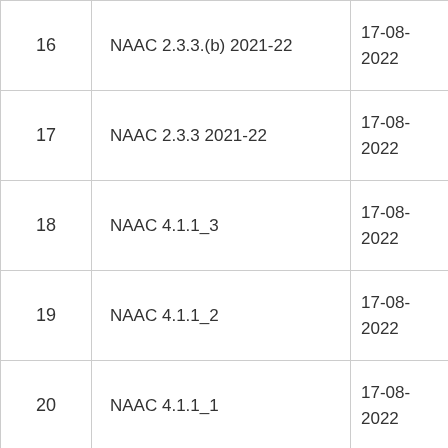| # | Name | Date | Action |
| --- | --- | --- | --- |
| 16 | NAAC 2.3.3.(b) 2021-22 | 17-08-2022 |  |
| 17 | NAAC 2.3.3 2021-22 | 17-08-2022 |  |
| 18 | NAAC 4.1.1_3 | 17-08-2022 |  |
| 19 | NAAC 4.1.1_2 | 17-08-2022 |  |
| 20 | NAAC 4.1.1_1 | 17-08-2022 |  |